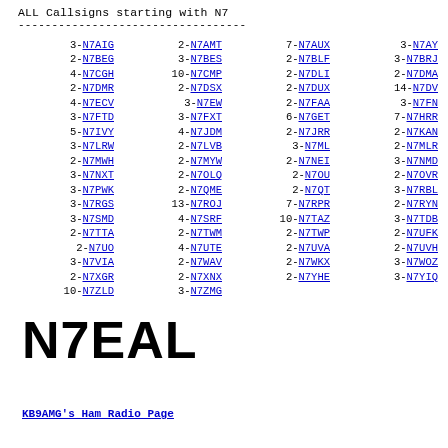ALL Callsigns starting with N7
3-N7AIG, 2-N7AMT, 7-N7AUX, 3-N7AY
2-N7BEG, 3-N7BES, 2-N7BLF, 3-N7BRJ
4-N7CGH, 10-N7CMP, 2-N7DLI, 2-N7DMA
2-N7DMR, 2-N7DSX, 2-N7DUX, 14-N7DV
4-N7ECV, 3-N7EW, 2-N7FAA, 3-N7FN
3-N7FTD, 3-N7FXT, 6-N7GET, 7-N7HRR
5-N7IVY, 4-N7JDM, 2-N7JRR, 2-N7KAN
3-N7LRW, 2-N7LVB, 3-N7ML, 2-N7MLR
2-N7MWH, 2-N7MYW, 2-N7NEI, 3-N7NMD
3-N7NXT, 2-N7OLQ, 2-N7OU, 2-N7OVR
3-N7PWK, 2-N7QME, 2-N7QT, 3-N7RBL
3-N7RGS, 13-N7ROJ, 7-N7RPR, 2-N7RYN
3-N7SMD, 4-N7SRF, 10-N7TAZ, 3-N7TDB
2-N7TTA, 2-N7TWM, 2-N7TWP, 2-N7UFK
2-N7UO, 4-N7UTE, 2-N7UVA, 2-N7UVH
3-N7VIA, 2-N7WAV, 2-N7WKX, 3-N7WOZ
2-N7XGR, 2-N7XNX, 2-N7YHE, 3-N7YIQ
10-N7ZLD, 3-N7ZMG
N7EAL
KB9AMG's Ham Radio Page